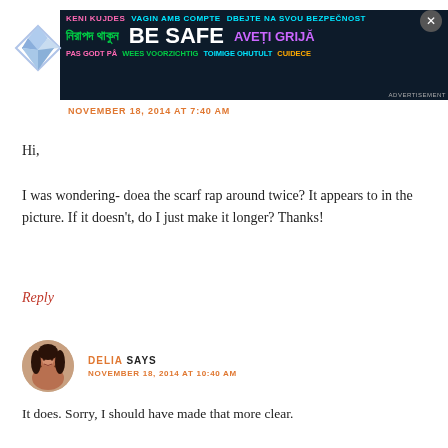[Figure (screenshot): Advertisement banner with multilingual safety message 'BE SAFE' in bold white text on dark background, with text in multiple languages including Bengali, Romanian, Estonian, Dutch, and others. Colorful text in pink, green, cyan, purple.]
NOVEMBER 18, 2014 AT 7:40 AM
Hi,

I was wondering- doea the scarf rap around twice? It appears to in the picture. If it doesn't, do I just make it longer? Thanks!
Reply
DELIA SAYS
NOVEMBER 18, 2014 AT 10:40 AM
It does. Sorry, I should have made that more clear.